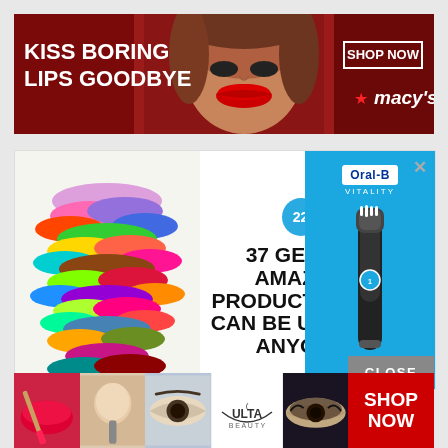[Figure (infographic): Macy's banner ad with red lipstick model face, text 'KISS BORING LIPS GOODBYE' and 'SHOP NOW' button with Macy's star logo]
[Figure (infographic): Amazon products ad with colorful scrunchies on left, '22' badge, headline '37 GENIUS AMAZON PRODUCTS THAT CAN BE USED BY ANYONE', Oral-B Vitality toothbrush on right, X close button]
[Figure (infographic): Bottom Ulta Beauty ad strip with makeup images (lips, brush, eye, Ulta logo, eyes), CLOSE button, and red SHOP NOW button]